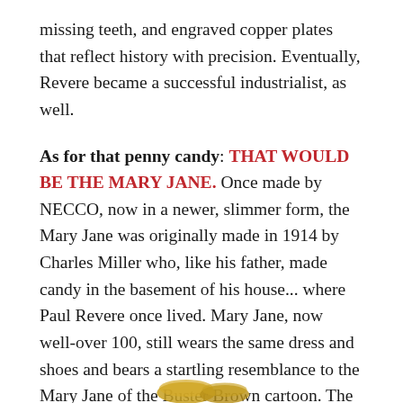missing teeth, and engraved copper plates that reflect history with precision. Eventually, Revere became a successful industrialist, as well.
As for that penny candy: THAT WOULD BE THE MARY JANE. Once made by NECCO, now in a newer, slimmer form, the Mary Jane was originally made in 1914 by Charles Miller who, like his father, made candy in the basement of his house... where Paul Revere once lived. Mary Jane, now well-over 100, still wears the same dress and shoes and bears a startling resemblance to the Mary Jane of the Buster Brown cartoon. The resemblance is so clear Buster Brown creator Richard Outcault sued Miller for copyright infringement, but lost.
[Figure (photo): Partial image of Mary Jane candy at the bottom of the page, partially cropped]